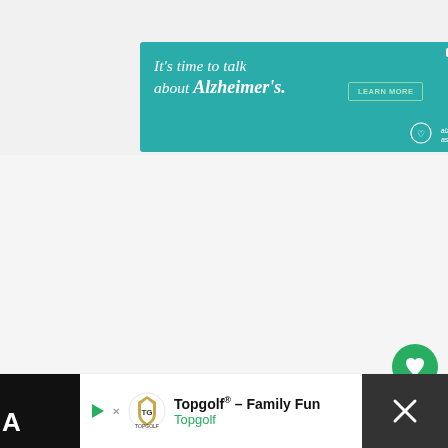[Figure (screenshot): Alzheimer's Association advertisement banner with teal background. Text reads "It's time to talk about Alzheimer's." with a LEARN MORE button and alzheimer's association logo. Has a close X button.]
[Figure (screenshot): White/light gray empty content area of a webpage.]
[Figure (screenshot): Green circular like/heart button (FAB) on the right side.]
[Figure (screenshot): White circular share button (FAB) on the right side with share icon and plus sign.]
[Figure (screenshot): Bottom advertisement bar for Topgolf. Shows Topgolf logo, play button, text 'Topgolf® – Family Fun' and 'Topgolf', a blue navigation arrow icon, and a close X button on dark background. Left side shows partial letter 'A' and right side shows partial text 'ad' and 'of'.]